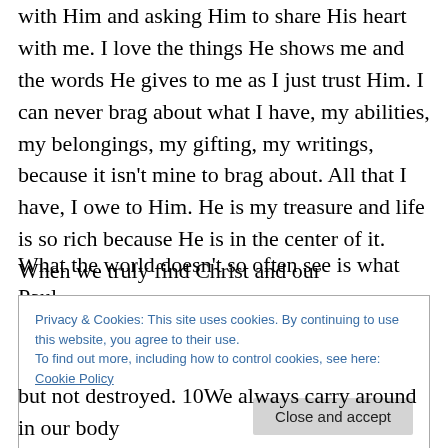with Him and asking Him to share His heart with me. I love the things He shows me and the words He gives to me as I just trust Him. I can never brag about what I have, my abilities, my belongings, my gifting, my writings, because it isn't mine to brag about. All that I have, I owe to Him. He is my treasure and life is so rich because He is in the center of it. When we truly find Christ and our relationship with Him, then we understand we don't have to value what the world values, because our treasure is so much richer, rewarding and fulfilling.
What the world doesn't so often see is what Paul
Privacy & Cookies: This site uses cookies. By continuing to use this website, you agree to their use.
To find out more, including how to control cookies, see here: Cookie Policy
but not destroyed. 10We always carry around in our body